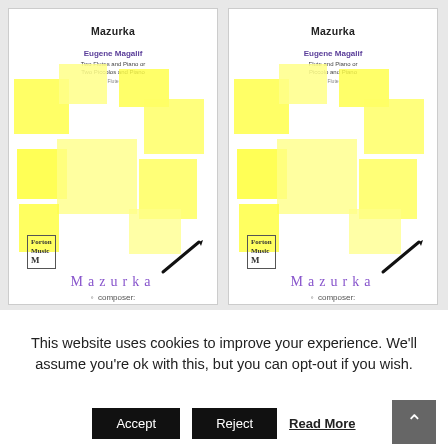[Figure (illustration): Two music score product cards side by side on a white background. Left card: 'Mazurka' by Eugene Magalif, Two Flutes and Piano or Two Piccolos and Piano. Right card: 'Mazurka' by Eugene Magalif, Flute and Piano or Piccolo and Piano. Both cards show overlapping yellow squares as decorative cover art, along with a small 'Forton Music' logo and a pen/baton illustration. Below each cover image is the title 'Mazurka' in purple spaced lettering and a bullet point reading 'composer:'.]
This website uses cookies to improve your experience. We'll assume you're ok with this, but you can opt-out if you wish.
Accept
Reject
Read More